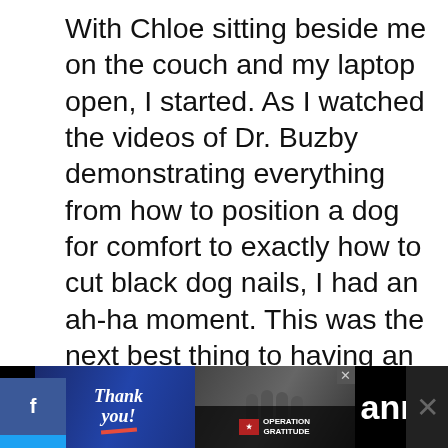With Chloe sitting beside me on the couch and my laptop open, I started. As I watched the videos of Dr. Buzby demonstrating everything from how to position a dog for comfort to exactly how to cut black dog nails, I had an ah-ha moment. This was the next best thing to having an expert right in my living room giving me step-by-step coaching as I watched videos and looked at the diagrams and printable materials, I became more confident that Chloe and I could do this together.
[Figure (screenshot): Social media sidebar with Facebook, Twitter, Pinterest buttons on the left side]
[Figure (screenshot): What's Next widget showing thumbnail and '29 Goldendood...' text with share/heart icons]
[Figure (screenshot): Advertisement banner at bottom showing 'Thank you' card with US military Operation Gratitude branding, partial text 'A...anny']